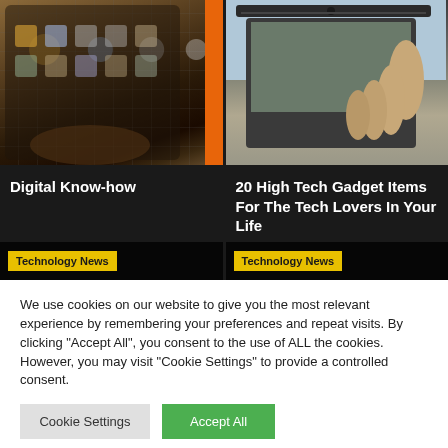[Figure (screenshot): Left card: smartphone with touchscreen showing app icons, orange side bar visible, Technology News yellow tag overlay at bottom]
Technology News
Digital Know-how
[Figure (screenshot): Right card: hand holding a dark smartphone/tablet device, Technology News yellow tag overlay at bottom]
Technology News
20 High Tech Gadget Items For The Tech Lovers In Your Life
We use cookies on our website to give you the most relevant experience by remembering your preferences and repeat visits. By clicking "Accept All", you consent to the use of ALL the cookies. However, you may visit "Cookie Settings" to provide a controlled consent.
Cookie Settings
Accept All